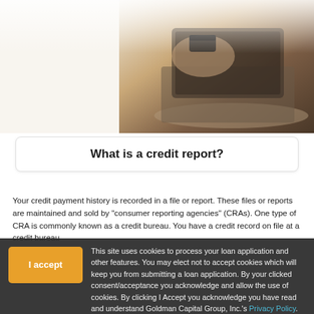[Figure (photo): Person holding a credit card in front of an open laptop computer, seen from above at an angle. Warm toned photograph.]
What is a credit report?
Your credit payment history is recorded in a file or report. These files or reports are maintained and sold by "consumer reporting agencies" (CRAs). One type of CRA is commonly known as a credit bureau. You have a credit record on file at a credit bureau if you have ever applied for a credit or charge account, a personal loan, insurance, or a job. Your credit record contains information about your income, debts, and credit payment history and an indication of whether you have been sued, arrested, or have filed for bankruptcy.
This site uses cookies to process your loan application and other features. You may elect not to accept cookies which will keep you from submitting a loan application. By your clicked consent/acceptance you acknowledge and allow the use of cookies. By clicking I Accept you acknowledge you have read and understand Goldman Capital Group, Inc.'s Privacy Policy.